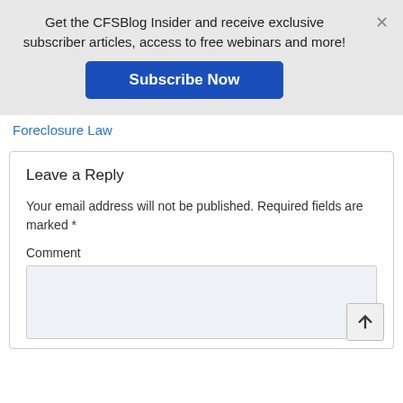Get the CFSBlog Insider and receive exclusive subscriber articles, access to free webinars and more!
Subscribe Now
×
Foreclosure Law
Leave a Reply
Your email address will not be published. Required fields are marked *
Comment